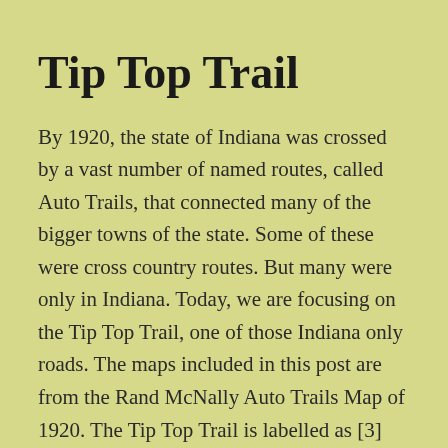Tip Top Trail
By 1920, the state of Indiana was crossed by a vast number of named routes, called Auto Trails, that connected many of the bigger towns of the state. Some of these were cross country routes. But many were only in Indiana. Today, we are focusing on the Tip Top Trail, one of those Indiana only roads. The maps included in this post are from the Rand McNally Auto Trails Map of 1920. The Tip Top Trail is labelled as [3] throughout those maps. A downloadable copy of this map is available from the Indiana State Library.